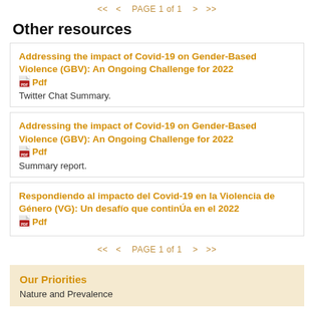<< < PAGE 1 of 1 > >>
Other resources
Addressing the impact of Covid-19 on Gender-Based Violence (GBV): An Ongoing Challenge for 2022
Pdf
Twitter Chat Summary.
Addressing the impact of Covid-19 on Gender-Based Violence (GBV): An Ongoing Challenge for 2022
Pdf
Summary report.
Respondiendo al impacto del Covid-19 en la Violencia de Género (VG): Un desafío que continÚa en el 2022
Pdf
<< < PAGE 1 of 1 > >>
Our Priorities
Nature and Prevalence